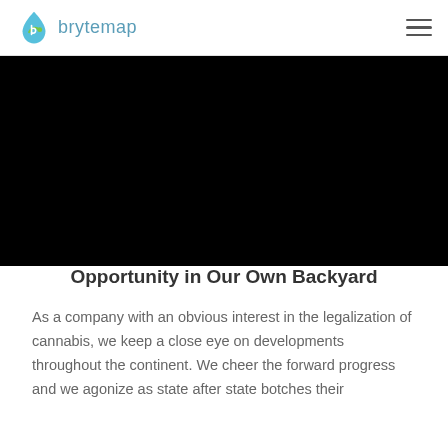brytemap [logo] [hamburger menu]
[Figure (photo): Full-width black hero image banner]
Opportunity in Our Own Backyard
As a company with an obvious interest in the legalization of cannabis, we keep a close eye on developments throughout the continent. We cheer the forward progress and we agonize as state after state botches their